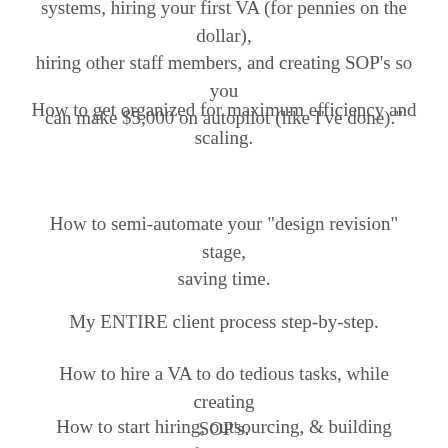systems, hiring your first VA (for pennies on the dollar), hiring other staff members, and creating SOP’s so you can make $5,000 on autopilot (like I’ve done).”
How to get organized for maximum efficiency and scaling.
How to semi-automate your “design revision” stage, saving time.
My ENTIRE client process step-by-step.
How to hire a VA to do tedious tasks, while creating SOP’s.
How to start hiring, outsourcing, & building freedom